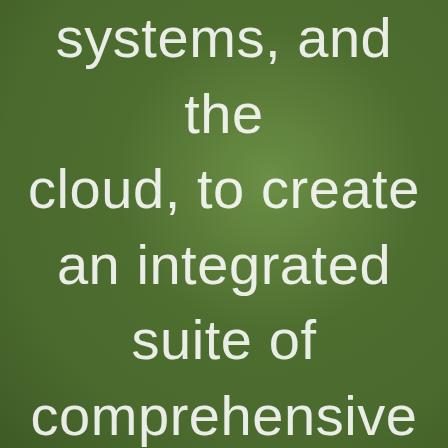systems, and the cloud, to create an integrated suite of comprehensive device management